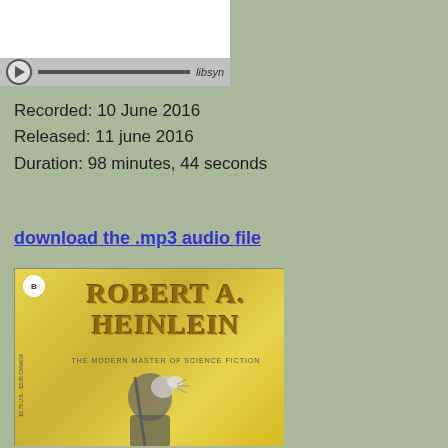[Figure (screenshot): Audio player widget with white thumbnail area above and gray playback bar with play button, progress bar, and libsyn branding]
Recorded: 10 June 2016
Released: 11 june 2016
Duration: 98 minutes, 44 seconds
download the .mp3 audio file
[Figure (photo): Book cover for Robert A. Heinlein 'The Modern Master of Science Fiction' with yellow/gold background and armored knight figure]